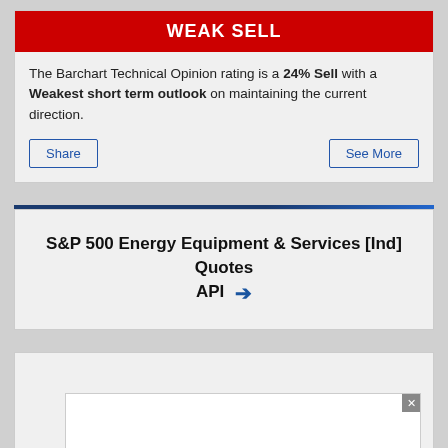WEAK SELL
The Barchart Technical Opinion rating is a 24% Sell with a Weakest short term outlook on maintaining the current direction.
Share | See More
S&P 500 Energy Equipment & Services [Ind] Quotes API →
[Figure (other): Advertisement placeholder box with close button]